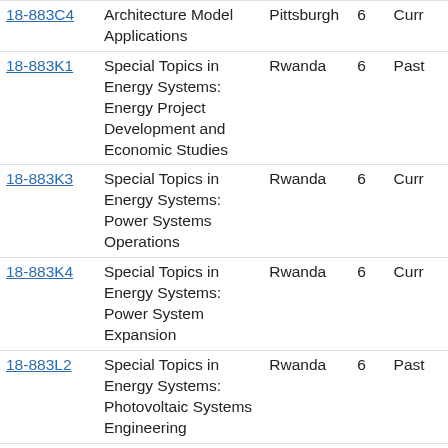| Course | Title | Location | Units | Status |
| --- | --- | --- | --- | --- |
| 18-883C4 | Architecture Model Applications | Pittsburgh | 6 | Curr |
| 18-883K1 | Special Topics in Energy Systems: Energy Project Development and Economic Studies | Rwanda | 6 | Past |
| 18-883K3 | Special Topics in Energy Systems: Power Systems Operations | Rwanda | 6 | Curr |
| 18-883K4 | Special Topics in Energy Systems: Power System Expansion | Rwanda | 6 | Curr |
| 18-883L2 | Special Topics in Energy Systems: Photovoltaic Systems Engineering | Rwanda | 6 | Past |
| 18-883L3 | Special Topics in Energy Systems: Power Electronics Applications in High Power | Rwanda | 6 | Past |
| 18-883L4 | Special Topics in Energy Systems: Integrated Energy Systems | Rwanda | 6 | Past |
| 18-883N... | Special Topics in Energy... | Rwanda | 6 | ... |